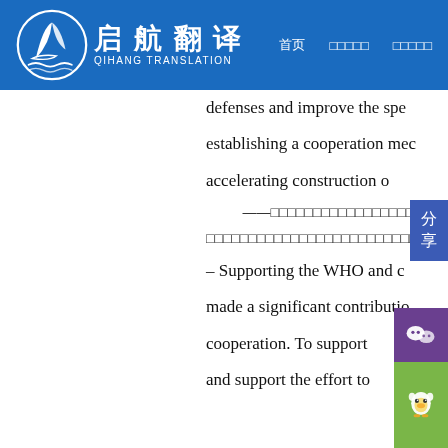启航翻译 QIHANG TRANSLATION — navigation bar
defenses and improve the spe establishing a cooperation mec accelerating construction o
——□□□□□□□□□□□□□□□□□□□□□
□□□□□□□□□□□□□□□□□□□□□□□□□□□□□□□□□□□□□□□□□□□□□□
– Supporting the WHO and c made a significant contributio cooperation. To support and support the effort to